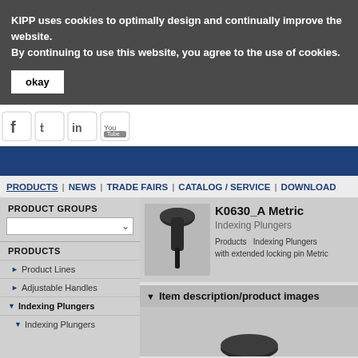KIPP uses cookies to optimally design and continually improve the website. By continuing to use this website, you agree to the use of cookies.
okay
[Figure (screenshot): Social media icons: Facebook, Twitter, LinkedIn, YouTube]
[Figure (illustration): Blue navigation header band]
PRODUCTS | NEWS | TRADE FAIRS | CATALOG / SERVICE | DOWNLOAD
PRODUCT GROUPS
Product Lines
Adjustable Handles
Indexing Plungers
Indexing Plungers
K0630_A Metric
Indexing Plungers
Products  Indexing Plungers with extended locking pin Metric
Item description/product images
[Figure (photo): Indexing plunger product photo - dark knob with pin]